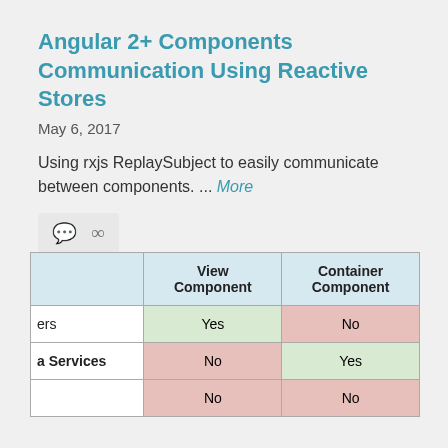Angular 2+ Components Communication Using Reactive Stores
May 6, 2017
Using rxjs ReplaySubject to easily communicate between components. ... More
[Figure (other): Icon bar with speech bubble and link icon]
|  | View Component | Container Component |
| --- | --- | --- |
| ers | Yes | No |
| a Services | No | Yes |
|  | No | No |